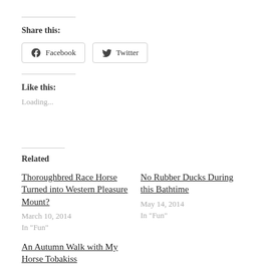Share this:
Facebook  Twitter
Like this:
Loading...
Related
Thoroughbred Race Horse Turned into Western Pleasure Mount?
March 10, 2014
In "Fun"
No Rubber Ducks During this Bathtime
May 14, 2014
In "Fun"
An Autumn Walk with My Horse Tobakiss